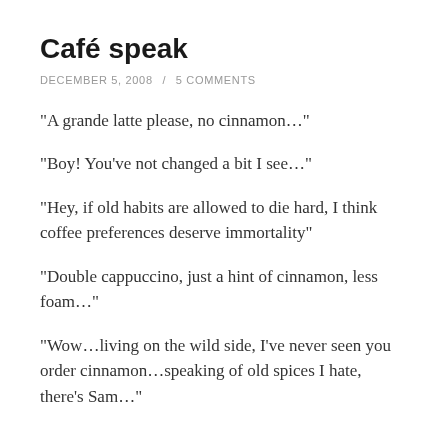Café speak
DECEMBER 5, 2008 / 5 COMMENTS
“A grande latte please, no cinnamon…”
“Boy! You’ve not changed a bit I see…”
“Hey, if old habits are allowed to die hard, I think coffee preferences deserve immortality”
“Double cappuccino, just a hint of cinnamon, less foam…”
“Wow…living on the wild side, I’ve never seen you order cinnamon…speaking of old spices I hate, there’s Sam…”